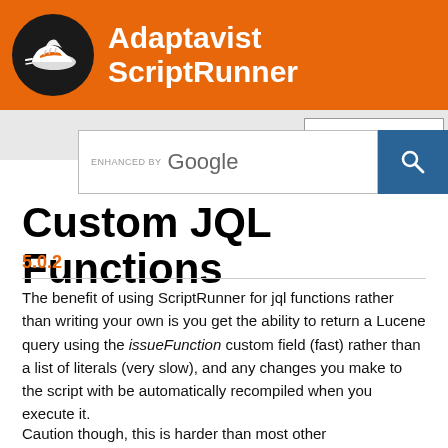Adaptavist ScriptRunner
[Figure (logo): Adaptavist ScriptRunner logo with running shoe icon in black circle and white text on orange background]
Custom JQL Functions
5.0.2
The benefit of using ScriptRunner for jql functions rather than writing your own is you get the ability to return a Lucene query using the issueFunction custom field (fast) rather than a list of literals (very slow), and any changes you make to the script with be automatically recompiled when you execute it.
Caution though, this is harder than most other